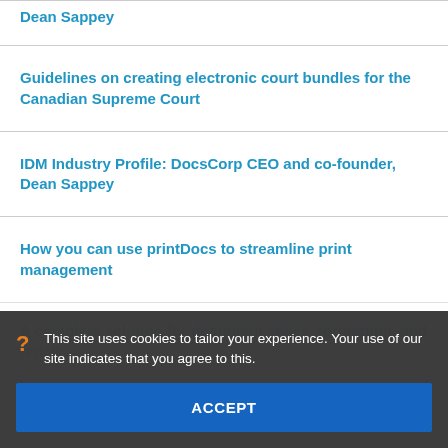Dean Sappey
Guidelines on creating electronic court bundles for the Canadian Supreme Court
IDM Industry Profile: DocsCorp CEO and co-founder, Dean Sappey
How you can use printDocs to streamline print management
A complete solution for document styles, formatting, and repair
What is PDF/A? Unpacking the designed for PDF archiving
This site uses cookies to tailor your experience. Your use of our site indicates that you agree to this.
ACCEPT